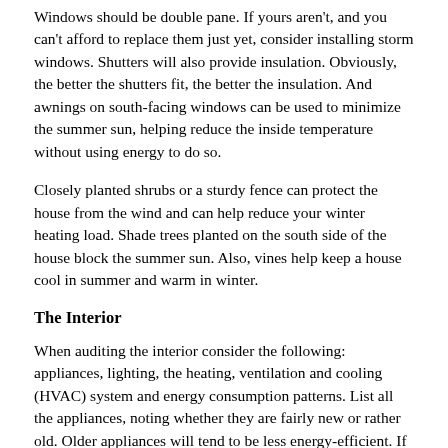Windows should be double pane. If yours aren't, and you can't afford to replace them just yet, consider installing storm windows. Shutters will also provide insulation. Obviously, the better the shutters fit, the better the insulation. And awnings on south-facing windows can be used to minimize the summer sun, helping reduce the inside temperature without using energy to do so.
Closely planted shrubs or a sturdy fence can protect the house from the wind and can help reduce your winter heating load. Shade trees planted on the south side of the house block the summer sun. Also, vines help keep a house cool in summer and warm in winter.
The Interior
When auditing the interior consider the following: appliances, lighting, the heating, ventilation and cooling (HVAC) system and energy consumption patterns. List all the appliances, noting whether they are fairly new or rather old. Older appliances will tend to be less energy-efficient. If you can, replace older appliances with energy-efficient models (or at least consider the energy efficiency level when it's time to replace them).
Regardless of the age of an appliance, there are ways of optimizing its energy efficiency. For example, by keeping the condenser coils of your refrigerator clean and by turning the thermostat setting from